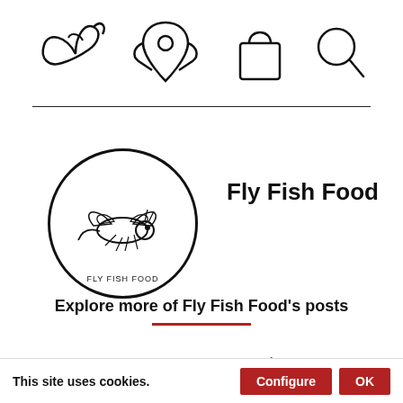[Figure (illustration): Navigation icon bar with four icons: a fly fishing lure icon, a map/location pin icon, a shopping bag icon, and a search/magnifier icon]
[Figure (logo): Fly Fish Food circular logo — a detailed insect/fly illustration inside a circle with text 'FLY FISH FOOD' at the bottom]
Fly Fish Food
Explore more of Fly Fish Food's posts
< Back to blog posts
Next Blog Post: How to Be Efficient and Eco-Friendly...
This site uses cookies.